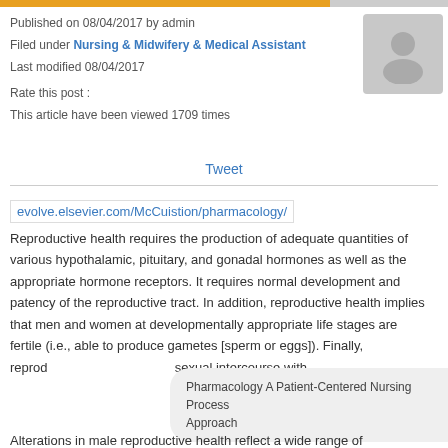Published on 08/04/2017 by admin
Filed under Nursing & Midwifery & Medical Assistant
Last modified 08/04/2017
Rate this post :
This article have been viewed 1709 times
Tweet
evolve.elsevier.com/McCuistion/pharmacology/
Reproductive health requires the production of adequate quantities of various hypothalamic, pituitary, and gonadal hormones as well as the appropriate hormone receptors. It requires normal development and patency of the reproductive tract. In addition, reproductive health implies that men and women at developmentally appropriate life stages are fertile (i.e., able to produce gametes [sperm or eggs]). Finally, reprod sexual intercourse with,
Pharmacology A Patient-Centered Nursing Process Approach
Alterations in male reproductive health reflect a wide range of